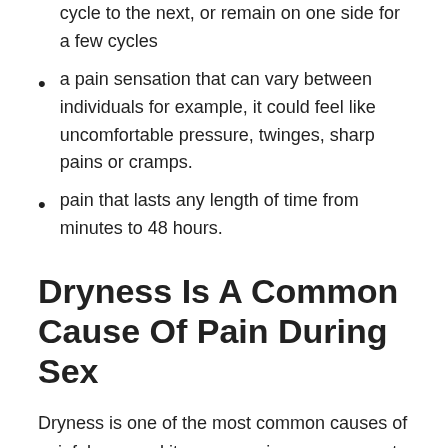cycle to the next, or remain on one side for a few cycles
a pain sensation that can vary between individuals for example, it could feel like uncomfortable pressure, twinges, sharp pains or cramps.
pain that lasts any length of time from minutes to 48 hours.
Dryness Is A Common Cause Of Pain During Sex
Dryness is one of the most common causes of painful sex, and it can occur in any woman at any age. While it is more common in peri-menopausal and post-menopausal women, younger women can experience it as well.
In addition to making sex painful, dryness can throw off the